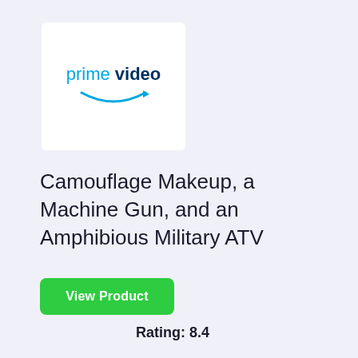[Figure (logo): Amazon Prime Video logo: text 'prime video' in cyan/dark blue with Amazon arrow smile below]
Camouflage Makeup, a Machine Gun, and an Amphibious Military ATV
View Product
Rating: 8.4